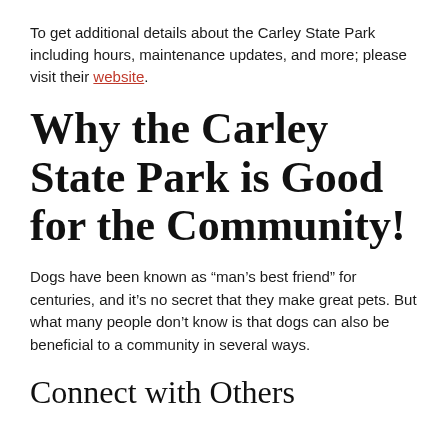To get additional details about the Carley State Park including hours, maintenance updates, and more; please visit their website.
Why the Carley State Park is Good for the Community!
Dogs have been known as “man’s best friend” for centuries, and it’s no secret that they make great pets. But what many people don’t know is that dogs can also be beneficial to a community in several ways.
Connect with Others